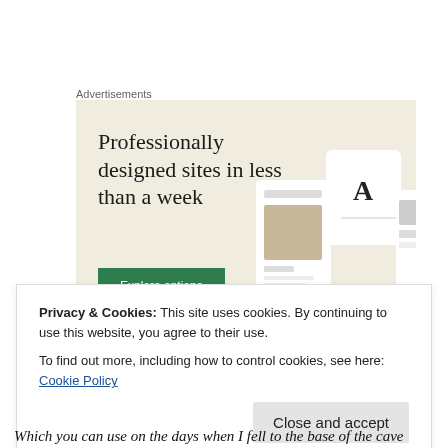Advertisements
[Figure (screenshot): Advertisement banner with beige background showing 'Professionally designed sites in less than a week' with a green 'Explore options' button and website mockup screenshots on the right side.]
Privacy & Cookies: This site uses cookies. By continuing to use this website, you agree to their use.
To find out more, including how to control cookies, see here: Cookie Policy
Which you can use on the days when I fell to the base of the cave